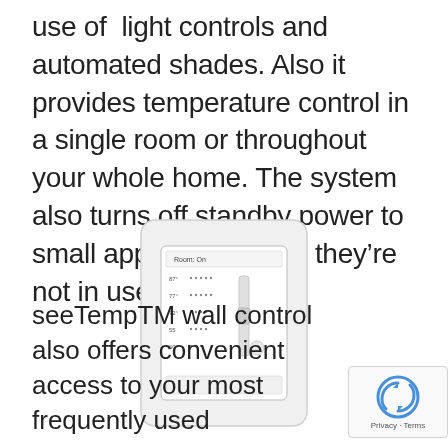use of  light controls and automated shades. Also it provides temperature control in a single room or throughout your whole home. The system also turns off standby power to small appliances when they're not in use.
[Figure (photo): Photo of a white wall-mounted smart thermostat/temperature control panel with a small digital display and dot-matrix style interface, shown on a light gray wall plate]
seeTempTM wall control also offers convenient access to your most frequently used